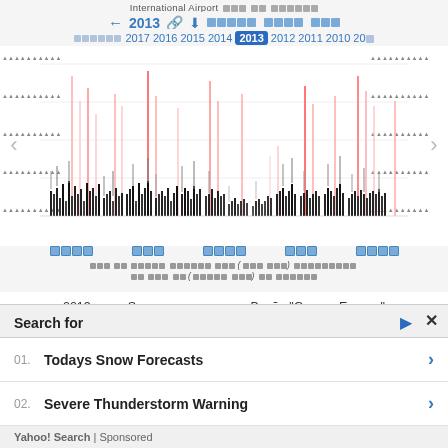International Airport □□ □□□ □□ □□□□□
← 2013 🔗 ⬇ □□□□□ □□□□ □□□
□□□□□□: 2017 2016 2015 2014 2013 2012 2011 2010 20□
[Figure (bar-chart): Bar chart showing daily weather data for 2013 at Bacău George Enescu International Airport. Black bars with pink/red vertical spikes indicating precipitation or temperature events across months. Y-axis shows values on both left and right sides with encoded labels. X-axis shows months.]
□□□ □□ □□□□□ □□ □□□□□□ □□□ (□□□ □□□) □□□□ □□□□□□□□ □□ □□ □□□ □□ □□□ (□□□□□ □□□) □□ □□□□□□ □□□□□
2013 □□□ Summer □□ □□□□□ Bacău "George Enescu" International Airport □□ □□□□□□ □□□□ □□□ □□ □□□□□□□
Search for
01. Todays Snow Forecasts
02. Severe Thunderstorm Warning
Yahoo! Search | Sponsored